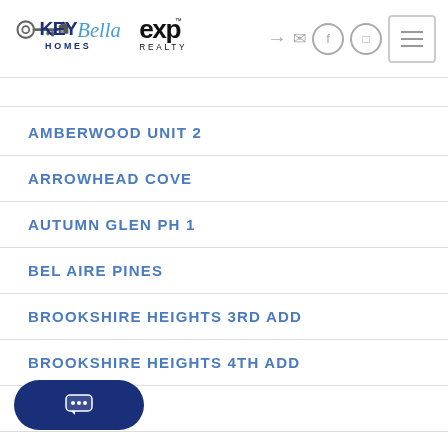[Figure (logo): KeyBella Homes and eXp Realty logos side by side]
AMBERWOOD UNIT 2
ARROWHEAD COVE
AUTUMN GLEN PH 1
BEL AIRE PINES
BROOKSHIRE HEIGHTS 3RD ADD
BROOKSHIRE HEIGHTS 4TH ADD
...LLO